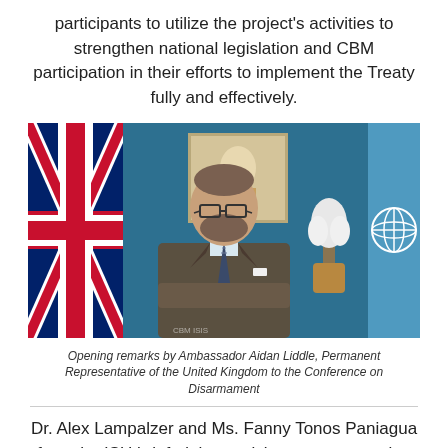participants to utilize the project's activities to strengthen national legislation and CBM participation in their efforts to implement the Treaty fully and effectively.
[Figure (photo): A man in a suit with glasses and a beard sits at a desk with arms crossed. Behind him are the UK flag (Union Jack) on the left and a UN flag on the right. A framed portrait is visible on the teal/dark blue wall behind him.]
Opening remarks by Ambassador Aidan Liddle, Permanent Representative of the United Kingdom to the Conference on Disarmament
Dr. Alex Lampalzer and Ms. Fanny Tonos Paniagua from the ISU briefed the participants on upcoming